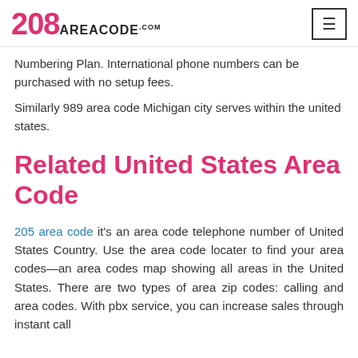208 AREACODE.com
Numbering Plan. International phone numbers can be purchased with no setup fees.
Similarly 989 area code Michigan city serves within the united states.
Related United States Area Code
205 area code it's an area code telephone number of United States Country. Use the area code locater to find your area codes—an area codes map showing all areas in the United States. There are two types of area zip codes: calling and area codes. With pbx service, you can increase sales through instant call